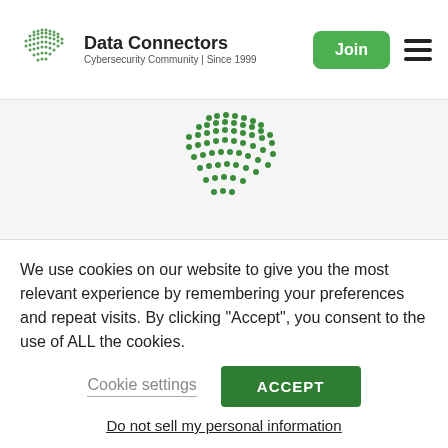Data Connectors | Cybersecurity Community | Since 1999 | Join
[Figure (logo): Data Connectors globe logo with green dot pattern, centered on page]
Data Connectors
Cybersecurity Community | Since 1999
500 Chesterfield Center
Suite 200
We use cookies on our website to give you the most relevant experience by remembering your preferences and repeat visits. By clicking "Accept", you consent to the use of ALL the cookies.
Cookie settings
ACCEPT
Do not sell my personal information